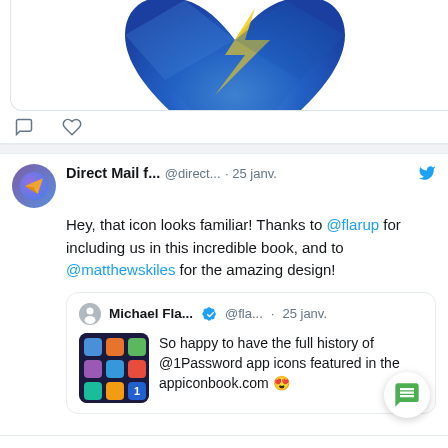[Figure (screenshot): Top of a Twitter/social media feed showing a cropped blue heart app icon image with social action icons (comment and like) below it.]
Direct Mail f... @direct... · 25 janv. Hey, that icon looks familiar! Thanks to @flarup for including us in this incredible book, and to @matthewskiles for the amazing design!
[Figure (screenshot): Quoted tweet from Michael Fla... @fla... · 25 janv. with thumbnail image: So happy to have the full history of @1Password app icons featured in the appiconbook.com 😍 ...]
1 comment, 8 likes